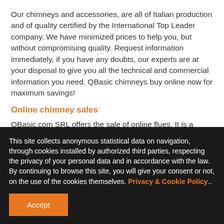Our chimneys and accessories, are all of Italian production and of quality certified by the International Top Leader company. We have minimized prices to help you, but without compromising quality. Request information immediately, if you have any doubts, our experts are at your disposal to give you all the technical and commercial information you need. QBasic chimneys buy online now for maximum savings!
Online chimney sales
QBasic.com SRL offers the sale of online flues. It is a young company specializing in the sale of ONLINE stainless steel, single-wall and double-wall smoke exhaust systems and a specific line of iron smoke systems for stoves with pellets
This site collects anonymous statistical data on navigation, through cookies installed by authorized third parties, respecting the privacy of your personal data and in accordance with the law. By continuing to browse this site, you will give your consent or not, on the use of the cookies themselves. Privacy & Cookie Policy..